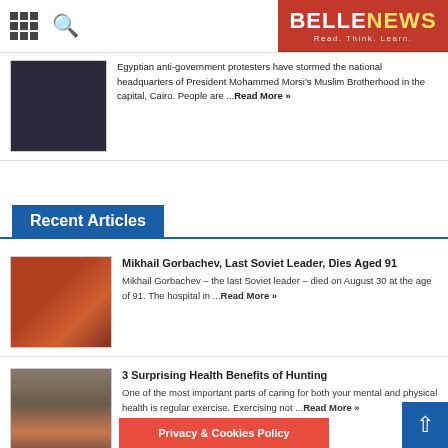BELLE NEWS - Read. Think. Learn.
Egyptian anti-government protesters have stormed the national headquarters of President Mohammed Morsi's Muslim Brotherhood in the capital, Cairo. People are ...Read More »
Recent Articles
Mikhail Gorbachev, Last Soviet Leader, Dies Aged 91
Mikhail Gorbachev – the last Soviet leader – died on August 30 at the age of 91. The hospital in ...Read More »
3 Surprising Health Benefits of Hunting
One of the most important parts of caring for both your mental and physical health is regular exercise. Exercising not ...Read More »
Privacy & Cookies Policy